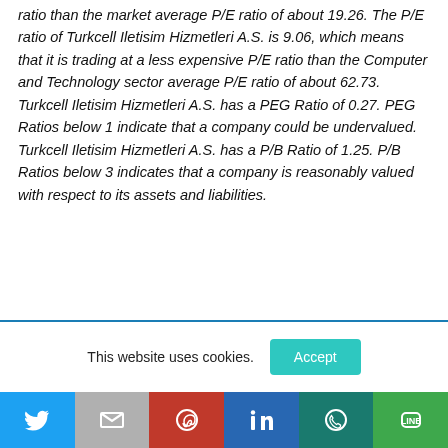ratio than the market average P/E ratio of about 19.26. The P/E ratio of Turkcell Iletisim Hizmetleri A.S. is 9.06, which means that it is trading at a less expensive P/E ratio than the Computer and Technology sector average P/E ratio of about 62.73. Turkcell Iletisim Hizmetleri A.S. has a PEG Ratio of 0.27. PEG Ratios below 1 indicate that a company could be undervalued. Turkcell Iletisim Hizmetleri A.S. has a P/B Ratio of 1.25. P/B Ratios below 3 indicates that a company is reasonably valued with respect to its assets and liabilities.
This website uses cookies.
[Figure (infographic): Social sharing bar with Twitter, Gmail, Pinterest, LinkedIn, WhatsApp, and LINE icons]